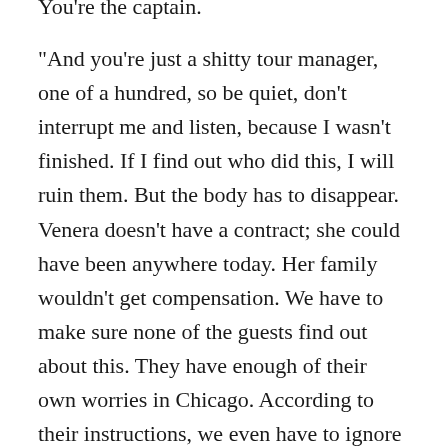You're the captain.
“And you’re just a shitty tour manager, one of a hundred, so be quiet, don’t interrupt me and listen, because I wasn’t finished. If I find out who did this, I will ruin them. But the body has to disappear. Venera doesn’t have a contract; she could have been anywhere today. Her family wouldn’t get compensation. We have to make sure none of the guests find out about this. They have enough of their own worries in Chicago. According to their instructions, we even have to ignore high and low waters, which borders on illegality, so we have to just keep on going and work through it. The voyage continues as before. Whoever doesn’t like it can leave.  Understood?”